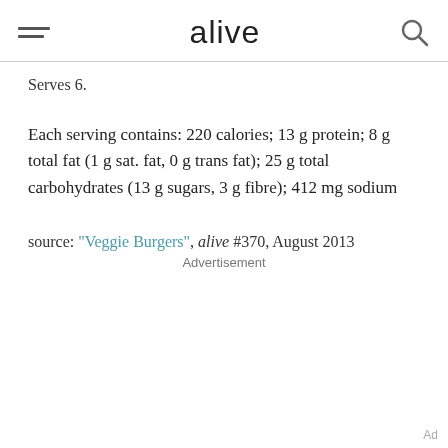alive
Serves 6.
Each serving contains: 220 calories; 13 g protein; 8 g total fat (1 g sat. fat, 0 g trans fat); 25 g total carbohydrates (13 g sugars, 3 g fibre); 412 mg sodium
source: "Veggie Burgers", alive #370, August 2013
Advertisement
Ad